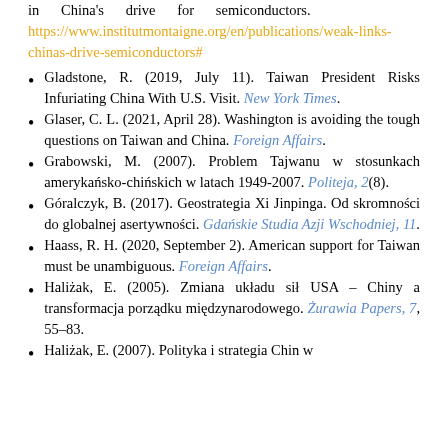in China's drive for semiconductors. https://www.institutmontaigne.org/en/publications/weak-links-chinas-drive-semiconductors#
Gladstone, R. (2019, July 11). Taiwan President Risks Infuriating China With U.S. Visit. New York Times.
Glaser, C. L. (2021, April 28). Washington is avoiding the tough questions on Taiwan and China. Foreign Affairs.
Grabowski, M. (2007). Problem Tajwanu w stosunkach amerykańsko-chińskich w latach 1949-2007. Politeja, 2(8).
Góralczyk, B. (2017). Geostrategia Xi Jinpinga. Od skromności do globalnej asertywności. Gdańskie Studia Azji Wschodniej, 11.
Haass, R. H. (2020, September 2). American support for Taiwan must be unambiguous. Foreign Affairs.
Haliżak, E. (2005). Zmiana układu sił USA – Chiny a transformacja porządku międzynarodowego. Żurawia Papers, 7, 55–83.
Haliżak, E. (2007). Polityka i strategia Chin w